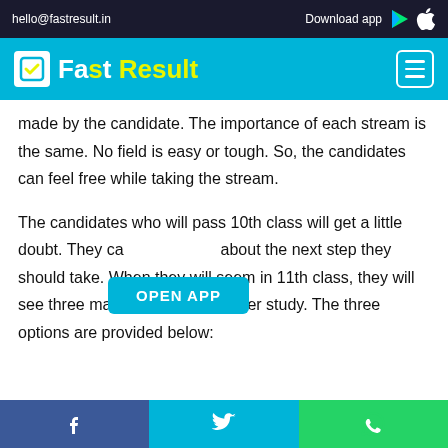hello@fastresult.in   Download app
Fast Result
made by the candidate. The importance of each stream is the same. No field is easy or tough. So, the candidates can feel free while taking the stream.
The candidates who will pass 10th class will get a little doubt. They can be doubtful about the next step they should take. When they will seem in 11th class, they will see three major choices for further study. The three options are provided below:
Facebook  Twitter  WhatsApp